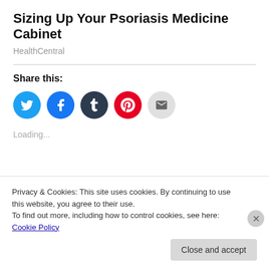Sizing Up Your Psoriasis Medicine Cabinet
HealthCentral
Share this:
[Figure (other): Social share icons: Twitter (blue), Facebook (blue), Tumblr (dark), Pinterest (red), Email (grey)]
Loading...
Privacy & Cookies: This site uses cookies. By continuing to use this website, you agree to their use.
To find out more, including how to control cookies, see here: Cookie Policy
Close and accept